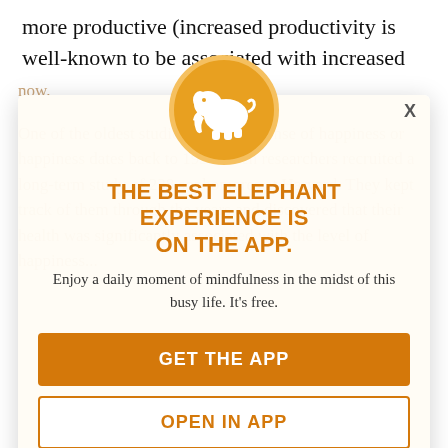more productive (increased productivity is well-known to be associated with increased
job satisfaction), improved personal interactions, and better health, something scientists have told us for about 80 years now. One of the oldest studies about our sense of happiness or happiness dates back to 1939 when researchers recruited a long-term study of 238 sophomores at Harvard. They kept track of them through the years and discovered that their health was significantly associated with the level of happiness...
[Figure (logo): Orange circle with white elephant silhouette - Elephant app logo]
THE BEST ELEPHANT EXPERIENCE IS ON THE APP.
Enjoy a daily moment of mindfulness in the midst of this busy life. It's free.
GET THE APP
OPEN IN APP